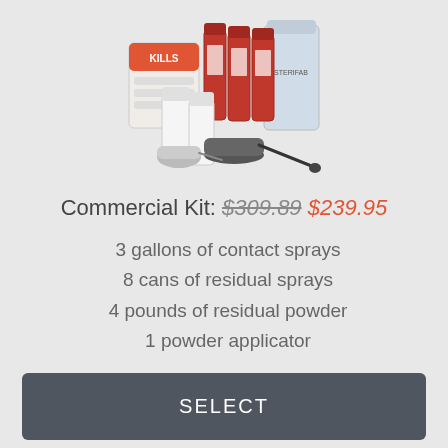[Figure (photo): Product photo of a commercial pest control kit with spray cans, jugs, and a powder applicator]
Commercial Kit: $309.89 $239.95
3 gallons of contact sprays
8 cans of residual sprays
4 pounds of residual powder
1 powder applicator
SELECT
Recommended Items